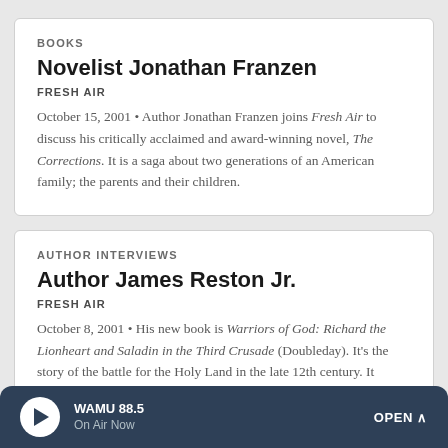BOOKS
Novelist Jonathan Franzen
FRESH AIR
October 15, 2001 • Author Jonathan Franzen joins Fresh Air to discuss his critically acclaimed and award-winning novel, The Corrections. It is a saga about two generations of an American family; the parents and their children.
AUTHOR INTERVIEWS
Author James Reston Jr.
FRESH AIR
October 8, 2001 • His new book is Warriors of God: Richard the Lionheart and Saladin in the Third Crusade (Doubleday). It's the story of the battle for the Holy Land in the late 12th century. It begins as a dual biography of Saladin, the Sultan of Egypt, Syria, Arabia and Mesopotamia, and Richard I, King of England.
WAMU 88.5 On Air Now OPEN